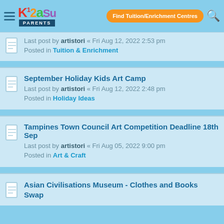K12 Parents — Find Tuition/Enrichment Centres
Last post by artistori « Fri Aug 12, 2022 2:53 pm
Posted in Tuition & Enrichment
September Holiday Kids Art Camp
Last post by artistori « Fri Aug 12, 2022 2:48 pm
Posted in Holiday Ideas
Tampines Town Council Art Competition Deadline 18th Sep
Last post by artistori « Fri Aug 05, 2022 9:00 pm
Posted in Art & Craft
Asian Civilisations Museum - Clothes and Books Swap